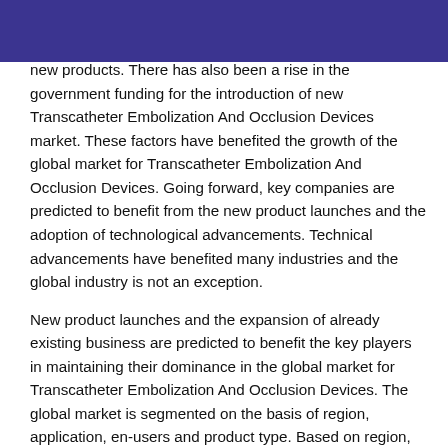new products. There has also been a rise in the government funding for the introduction of new Transcatheter Embolization And Occlusion Devices market. These factors have benefited the growth of the global market for Transcatheter Embolization And Occlusion Devices. Going forward, key companies are predicted to benefit from the new product launches and the adoption of technological advancements. Technical advancements have benefited many industries and the global industry is not an exception.
New product launches and the expansion of already existing business are predicted to benefit the key players in maintaining their dominance in the global market for Transcatheter Embolization And Occlusion Devices. The global market is segmented on the basis of region, application, en-users and product type. Based on region, the market is divided into North America, Europe, Asia-